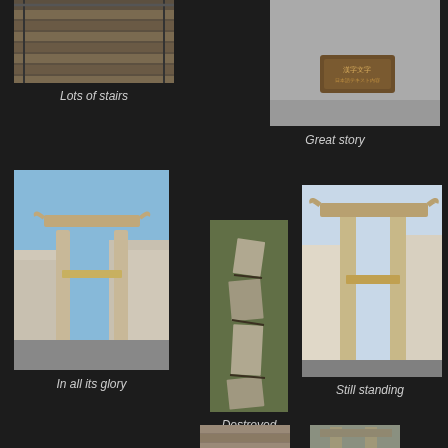[Figure (photo): Photo of stone stairs with metal railing]
Lots of stairs
[Figure (photo): Photo of a stone monument or marker with Japanese text plaque]
Great story
[Figure (photo): Photo of a torii gate standing between buildings under blue sky]
In all its glory
[Figure (photo): Photo of a destroyed/collapsed stone column lying among rocks and vegetation]
Destroyed column
[Figure (photo): Photo of a torii gate still standing between buildings, viewed from street level]
Still standing
[Figure (photo): Partial photo at bottom left, cut off]
[Figure (photo): Partial photo at bottom right, cut off]